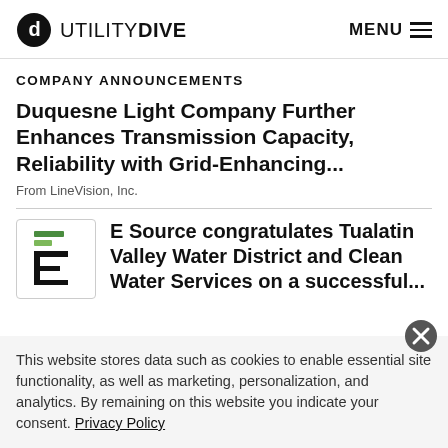UTILITY DIVE | MENU
COMPANY ANNOUNCEMENTS
Duquesne Light Company Further Enhances Transmission Capacity, Reliability with Grid-Enhancing...
From LineVision, Inc.
[Figure (logo): E Source company logo — letter E with green bars on top]
E Source congratulates Tualatin Valley Water District and Clean Water Services on a successful...
This website stores data such as cookies to enable essential site functionality, as well as marketing, personalization, and analytics. By remaining on this website you indicate your consent. Privacy Policy